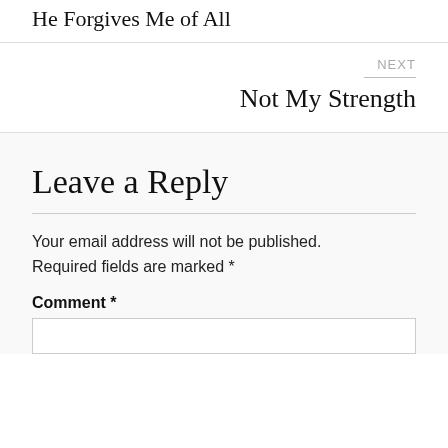He Forgives Me of All
NEXT
Not My Strength
Leave a Reply
Your email address will not be published. Required fields are marked *
Comment *